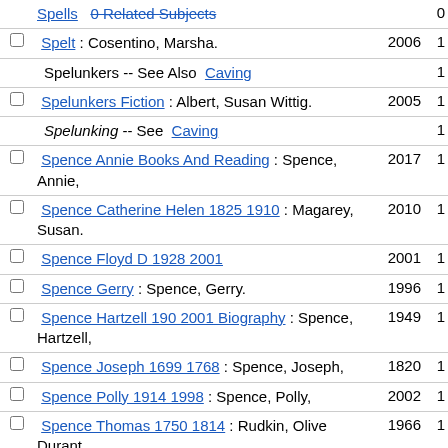| checkbox | entry | year | count |
| --- | --- | --- | --- |
|  | Spells -- 0 Related Subjects (link) |  | 0 |
| ☐ | Spelt : Cosentino, Marsha. | 2006 | 1 |
|  | Spelunkers -- See Also Caving |  | 1 |
| ☐ | Spelunkers Fiction : Albert, Susan Wittig. | 2005 | 1 |
|  | Spelunking -- See Caving |  | 1 |
| ☐ | Spence Annie Books And Reading : Spence, Annie, | 2017 | 1 |
| ☐ | Spence Catherine Helen 1825 1910 : Magarey, Susan. | 2010 | 1 |
| ☐ | Spence Floyd D 1928 2001 | 2001 | 1 |
| ☐ | Spence Gerry : Spence, Gerry. | 1996 | 1 |
| ☐ | Spence Hartzell 190 2001 Biography : Spence, Hartzell, | 1949 | 1 |
| ☐ | Spence Joseph 1699 1768 : Spence, Joseph, | 1820 | 1 |
| ☐ | Spence Polly 1914 1998 : Spence, Polly, | 2002 | 1 |
| ☐ | Spence Thomas 1750 1814 : Rudkin, Olive Durant. | 1966 | 1 |